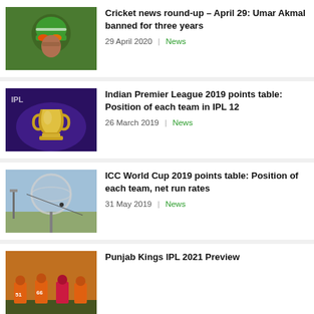Cricket news round-up – April 29: Umar Akmal banned for three years | 29 April 2020 | News
Indian Premier League 2019 points table: Position of each team in IPL 12 | 26 March 2019 | News
ICC World Cup 2019 points table: Position of each team, net run rates | 31 May 2019 | News
Punjab Kings IPL 2021 Preview